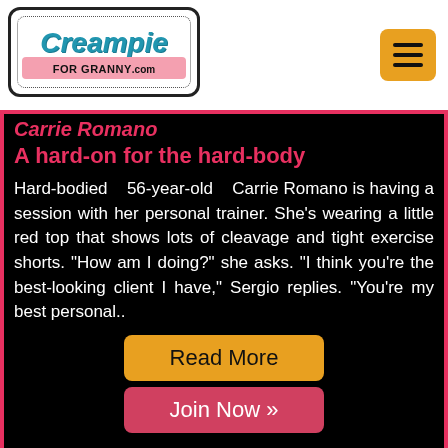[Figure (logo): Creampie For Granny .com logo with stylized text in blue italic font, pink banner, black border and dotted inner border]
Carrie Romano
A hard-on for the hard-body
Hard-bodied 56-year-old Carrie Romano is having a session with her personal trainer. She's wearing a little red top that shows lots of cleavage and tight exercise shorts. "How am I doing?" she asks. "I think you're the best-looking client I have," Sergio replies. "You're my best personal...
Read More
Join Now »